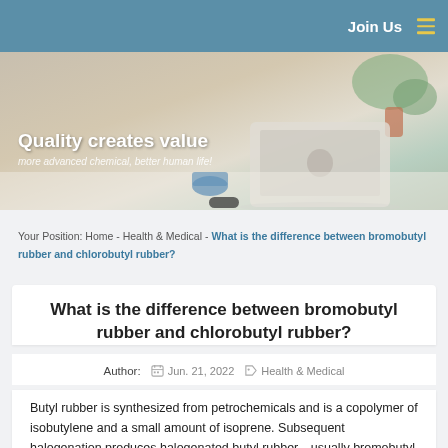Join Us
[Figure (photo): Office/workspace hero banner with laptop, plant, and coffee mug on a white table. Text overlay: 'Quality creates value' and 'more advanced chemical, better human life!']
Your Position: Home - Health & Medical - What is the difference between bromobutyl rubber and chlorobutyl rubber?
What is the difference between bromobutyl rubber and chlorobutyl rubber?
Author:    Jun. 21, 2022    Health & Medical
Butyl rubber is synthesized from petrochemicals and is a copolymer of isobutylene and a small amount of isoprene. Subsequent halogenation produces halogenated butyl rubber—usually bromobutyl or chlorobutyl.